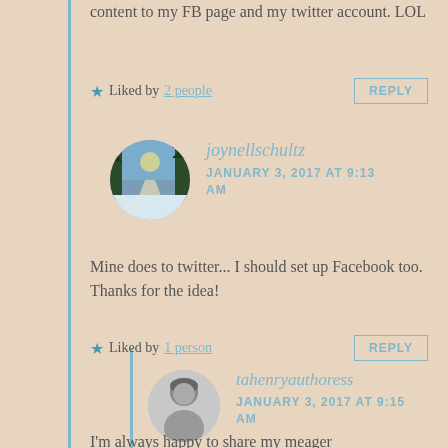content to my FB page and my twitter account. LOL
Liked by 2 people   REPLY
joynellschultz JANUARY 3, 2017 AT 9:13 AM
Mine does to twitter... I should set up Facebook too. Thanks for the idea!
Liked by 1 person   REPLY
tahenryauthoress JANUARY 3, 2017 AT 9:15 AM
I'm always happy to share my meager